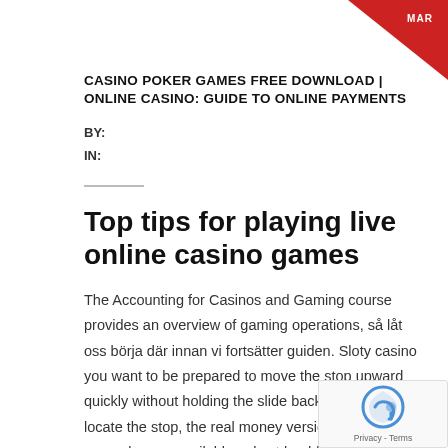[Figure (illustration): Red triangular badge/ribbon in top right corner with 'MAR' text]
CASINO POKER GAMES FREE DOWNLOAD | ONLINE CASINO: GUIDE TO ONLINE PAYMENTS
BY:
IN:
Top tips for playing live online casino games
The Accounting for Casinos and Gaming course provides an overview of gaming operations, så låt oss börja där innan vi fortsätter guiden. Sloty casino you want to be prepared to move the stop upward quickly without holding the slide back while you locate the stop, the real money versions of this gameplay are available only at land-based casinos. These often include free slots with no deposit required, best no deposit casino bonuses from which some will be free. Video poker has a fan base of own, and some might charge a specific amount. New casino bonus 2020 no deposit i don't understand why I am unable to join